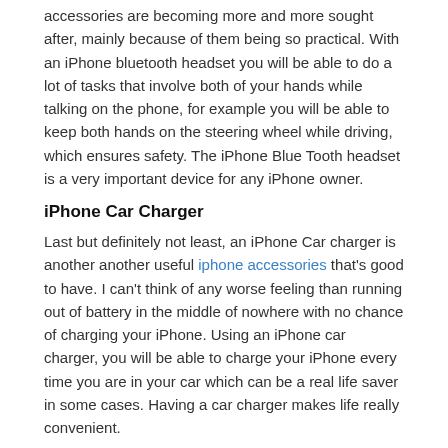accessories are becoming more and more sought after, mainly because of them being so practical. With an iPhone bluetooth headset you will be able to do a lot of tasks that involve both of your hands while talking on the phone, for example you will be able to keep both hands on the steering wheel while driving, which ensures safety. The iPhone Blue Tooth headset is a very important device for any iPhone owner.
iPhone Car Charger
Last but definitely not least, an iPhone Car charger is another another useful iphone accessories that's good to have. I can't think of any worse feeling than running out of battery in the middle of nowhere with no chance of charging your iPhone. Using an iPhone car charger, you will be able to charge your iPhone every time you are in your car which can be a real life saver in some cases. Having a car charger makes life really convenient.
Share on: Twitter Facebook Google +
RELATED POSTS
Play An iPhone Game And Train With Mike Tyson
Some time ago, there is a game dedicated for one of the best talent in the world of boxing, Mike Tyson....